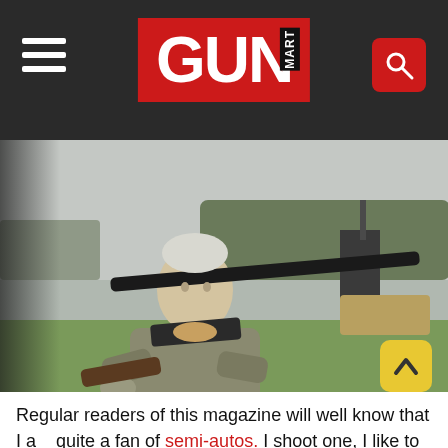GUN MART
[Figure (photo): An elderly man holding a semi-automatic shotgun at an outdoor shooting range, overcast sky background with green grass and trees.]
Regular readers of this magazine will well know that I am quite a fan of semi-autos. I shoot one, I like to try new ones